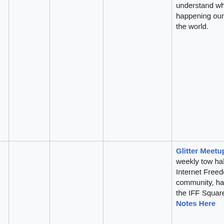|  | Date | Time | Event | Description |
| --- | --- | --- | --- | --- |
|  |  |  |  | understand what is happening our part of the world. |
|  | March 10 | 9am EST / 2pm UTC | Glitter Meetup | Glitter Meetup is t weekly tow hall of the Internet Freedom community, happening the IFF Square. Read Notes Here |
|  |  |  |  | Glitter Meetup is t weekly tow |